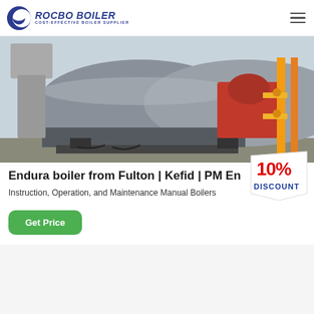ROCBO BOILER — COST-EFFECTIVE BOILER SUPPLIER
[Figure (photo): Industrial boiler equipment in a facility — large cylindrical boiler body in grey/silver with red burner unit and yellow gas pipes visible on the right side.]
Endura boiler from Fulton | Kefid | PM En...
[Figure (infographic): 10% DISCOUNT badge/sticker in red and blue text on a white banner shape]
Instruction, Operation, and Maintenance Manual Boilers
Get Price